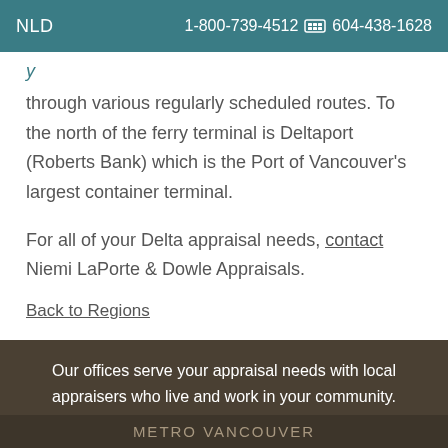NLD  1-800-739-4512  604-438-1628
y through various regularly scheduled routes. To the north of the ferry terminal is Deltaport (Roberts Bank) which is the Port of Vancouver’s largest container terminal.
For all of your Delta appraisal needs, contact Niemi LaPorte & Dowle Appraisals.
Back to Regions
Our offices serve your appraisal needs with local appraisers who live and work in your community.
METRO VANCOUVER